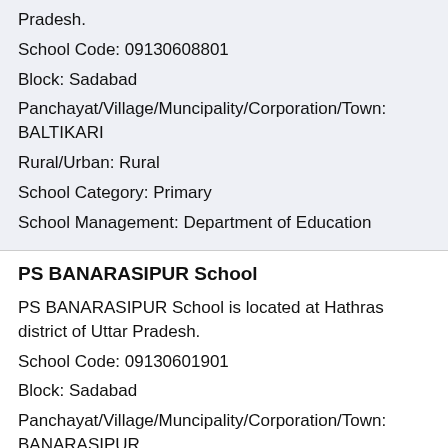Pradesh.
School Code: 09130608801
Block: Sadabad
Panchayat/Village/Muncipality/Corporation/Town: BALTIKARI
Rural/Urban: Rural
School Category: Primary
School Management: Department of Education
PS BANARASIPUR School
PS BANARASIPUR School is located at Hathras district of Uttar Pradesh.
School Code: 09130601901
Block: Sadabad
Panchayat/Village/Muncipality/Corporation/Town: BANARASIPUR